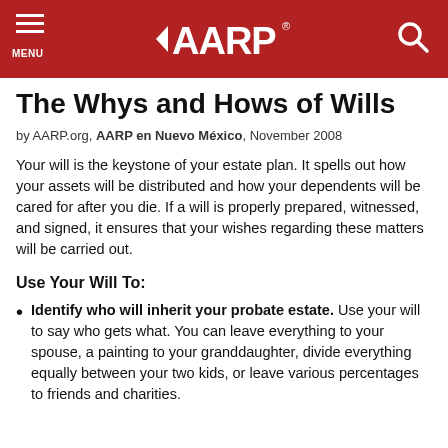AARP — MENU / Search header
The Whys and Hows of Wills
by AARP.org, AARP en Nuevo México, November 2008
Your will is the keystone of your estate plan. It spells out how your assets will be distributed and how your dependents will be cared for after you die. If a will is properly prepared, witnessed, and signed, it ensures that your wishes regarding these matters will be carried out.
Use Your Will To:
Identify who will inherit your probate estate. Use your will to say who gets what. You can leave everything to your spouse, a painting to your granddaughter, divide everything equally between your two kids, or leave various percentages to friends and charities.